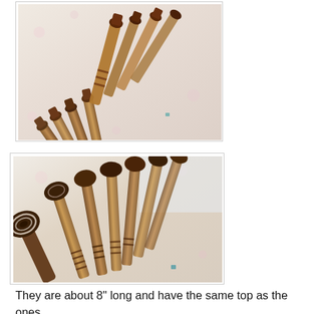[Figure (photo): Multiple wooden bobbin lace bobbins arranged fan-like on a floral fabric surface, photographed from above. Bobbins have rounded tops and tapered wooden shafts with thread wrapped around them.]
[Figure (photo): Same or similar set of wooden bobbin lace bobbins arranged diagonally on a floral fabric, closer view showing the rounded dark tops and tapered wooden shafts more clearly.]
They are about 8" long and have the same top as the ones